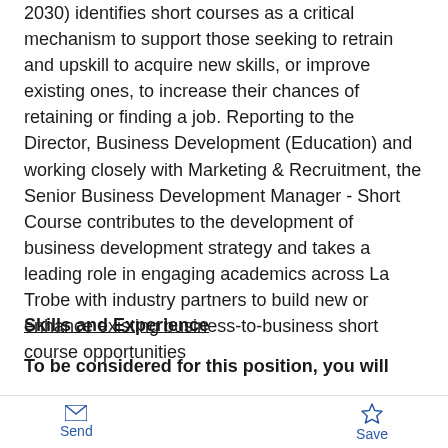2030) identifies short courses as a critical mechanism to support those seeking to retrain and upskill to acquire new skills, or improve existing ones, to increase their chances of retaining or finding a job. Reporting to the Director, Business Development (Education) and working closely with Marketing & Recruitment, the Senior Business Development Manager - Short Course contributes to the development of business development strategy and takes a leading role in engaging academics across La Trobe with industry partners to build new or enhance existing business-to-business short course opportunities
Skills and Experience
To be considered for this position, you will
Demonstrated knowledge, skills and relevant
Send   Save